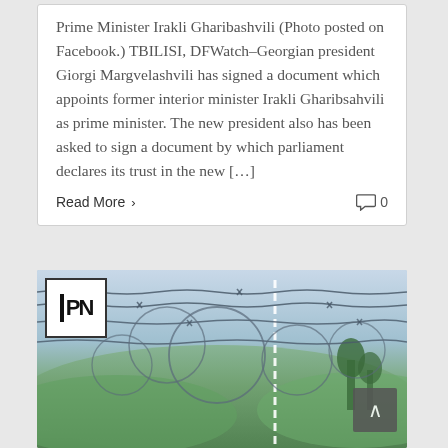Prime Minister Irakli Gharibashvili (Photo posted on Facebook.) TBILISI, DFWatch–Georgian president Giorgi Margvelashvili has signed a document which appoints former interior minister Irakli Gharibsahvili as prime minister. The new president also has been asked to sign a document by which parliament declares its trust in the new […]
Read More >
0
[Figure (photo): Photo of barbed wire fence against a sky background with trees and hills. IPN logo (black and white) in upper left corner. A scroll-to-top button with upward chevron in lower right corner.]